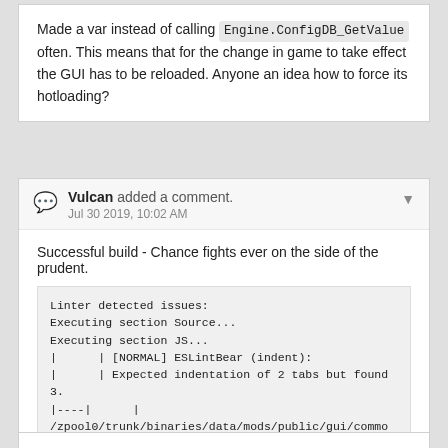Made a var instead of calling Engine.ConfigDB_GetValue often. This means that for the change in game to take effect the GUI has to be reloaded. Anyone an idea how to force its hotloading?
Vulcan added a comment. Jul 30 2019, 10:02 AM
Successful build - Chance fights ever on the side of the prudent.
Linter detected issues:
Executing section Source...
Executing section JS...
|      | [NORMAL] ESLintBear (indent):
|      | Expected indentation of 2 tabs but found 3.
|----|      |
/zpool0/trunk/binaries/data/mods/public/gui/common/tooltips.js
|      |++++|
/zpool0/trunk/binaries/data/mods/public/gui/common/tool
Link to build: https://jenkins.wildfiregames.com/job/docker-differential/270/display/redirect